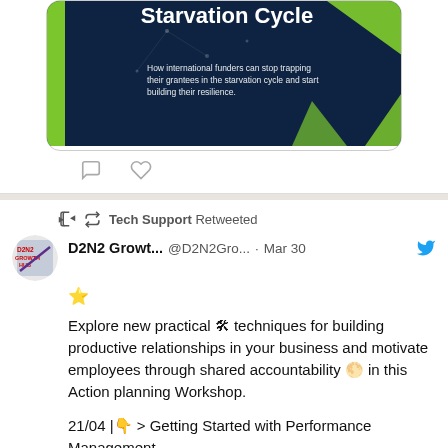[Figure (screenshot): Cropped top of a tweet card showing a book/report cover image with text 'Starvation Cycle' and subtitle about international funders on a dark blue background with green geometric shapes]
Tech Support Retweeted
D2N2 Growt... @D2N2Gro... · Mar 30
⭐ Explore new practical 🛠 techniques for building productive relationships in your business and motivate employees through shared accountability 🌕 in this Action planning Workshop.

21/04 |👇 > Getting Started with Performance Management
bit.ly/36pCGbq

#D2N2events